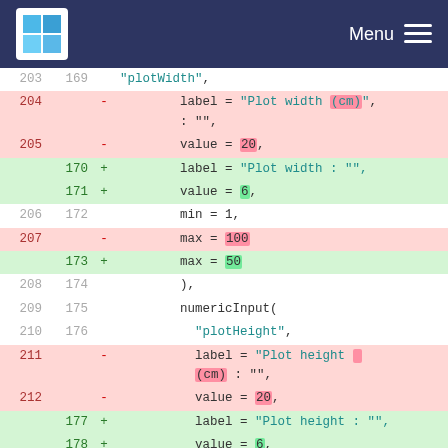Menu
| old | new | sign | code |
| --- | --- | --- | --- |
| 203 | 169 |  | "plotWidth", |
| 204 |  | - | label = "Plot width (cm) : ", |
| 205 |  | - | value = 20, |
|  | 170 | + | label = "Plot width : ", |
|  | 171 | + | value = 6, |
| 206 | 172 |  | min = 1, |
| 207 |  | - | max = 100 |
|  | 173 | + | max = 50 |
| 208 | 174 |  | ), |
| 209 | 175 |  | numericInput( |
| 210 | 176 |  | "plotHeight", |
| 211 |  | - | label = "Plot height (cm) : ", |
| 212 |  | - | value = 20, |
|  | 177 | + | label = "Plot height : ", |
|  | 178 | + | value = 6, |
| 213 | 179 |  | min = 1, |
| 214 |  | - | max = 100 |
|  | 180 | + | max = 50 |